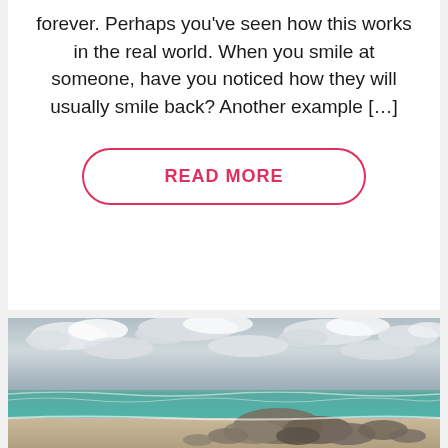forever. Perhaps you've seen how this works in the real world. When you smile at someone, have you noticed how they will usually smile back? Another example […]
[Figure (other): A button with rounded border labeled READ MORE in pink/red text]
[Figure (photo): A beach scene with cloudy sky, turquoise ocean waves, and rocky shoreline in the foreground]